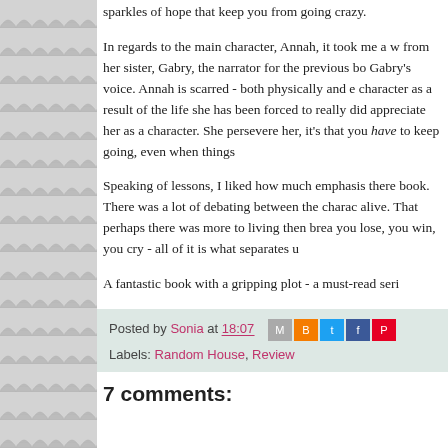sparkles of hope that keep you from going crazy.

In regards to the main character, Annah, it took me a w from her sister, Gabry, the narrator for the previous bo Gabry's voice. Annah is scarred - both physically and character as a result of the life she has been forced to really did appreciate her as a character. She persevere her, it's that you have to keep going, even when things

Speaking of lessons, I liked how much emphasis there book. There was a lot of debating between the charac alive. That perhaps there was more to living then brea you lose, you win, you cry - all of it is what separates u

A fantastic book with a gripping plot - a must-read seri
Posted by Sonia at 18:07   Labels: Random House, Review
7 comments: